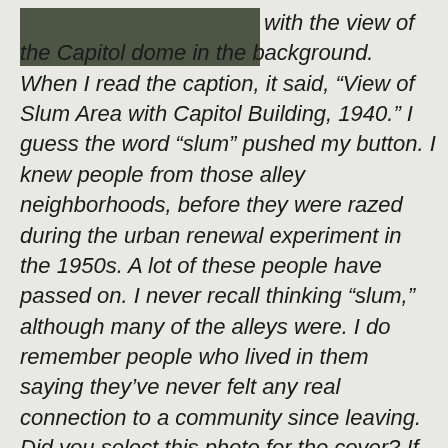[Figure (photo): Dark olive/green rectangular image block in upper left corner of page, partially obscured or placeholder image]
with the view of the Capitol dome in the background. When I read the caption, it said, “View of Slum Area with Capitol Building, 1940.” I guess the word “slum” pushed my button. I knew people from those alley neighborhoods, before they were razed during the urban renewal experiment in the 1950s. A lot of these people have passed on. I never recall thinking “slum,” although many of the alleys were. I do remember people who lived in them saying they’ve never felt any real connection to a community since leaving. Did you select this photo for the cover? If so, why or how does the photo work as a door to the poems in The Maverick Room? What community in DC do you still feel